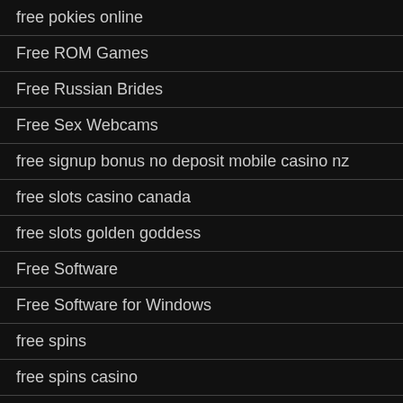free pokies online
Free ROM Games
Free Russian Brides
Free Sex Webcams
free signup bonus no deposit mobile casino nz
free slots casino canada
free slots golden goddess
Free Software
Free Software for Windows
free spins
free spins casino
free spins no deposit
free spins no deposit australia